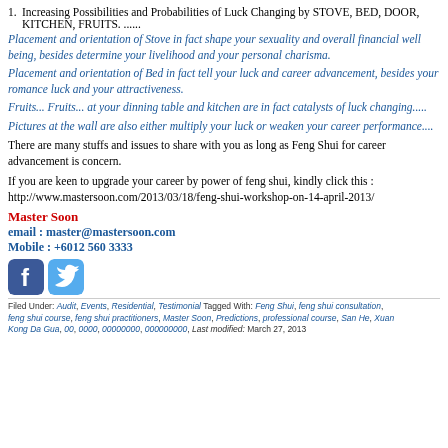1. Increasing Possibilities and Probabilities of Luck Changing by STOVE, BED, DOOR, KITCHEN, FRUITS. ......
Placement and orientation of Stove in fact shape your sexuality and overall financial well being, besides determine your livelihood and your personal charisma.
Placement and orientation of Bed in fact tell your luck and career advancement, besides your romance luck and your attractiveness.
Fruits... Fruits... at your dinning table and kitchen are in fact catalysts of luck changing.....
Pictures at the wall are also either multiply your luck or weaken your career performance....
There are many stuffs and issues to share with you as long as Feng Shui for career advancement is concern.
If you are keen to upgrade your career by power of feng shui, kindly click this : http://www.mastersoon.com/2013/03/18/feng-shui-workshop-on-14-april-2013/
Master Soon
email : master@mastersoon.com
Mobile : +6012 560 3333
[Figure (logo): Facebook and Twitter social media icons]
Filed Under: Audit, Events, Residential, Testimonial Tagged With: Feng Shui, feng shui consultation, feng shui course, feng shui practitioners, Master Soon, Predictions, professional course, San He, Xuan Kong Da Gua, 00, 0000, 00000000, 000000000, Last modified: March 27, 2013